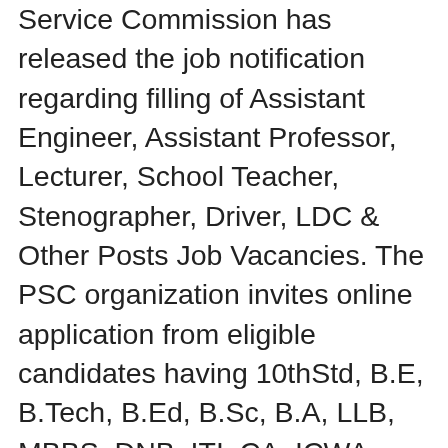Service Commission has released the job notification regarding filling of Assistant Engineer, Assistant Professor, Lecturer, School Teacher, Stenographer, Driver, LDC & Other Posts Job Vacancies. The PSC organization invites online application from eligible candidates having 10thStd, B.E, B.Tech, B.Ed, B.Sc, B.A, LLB, MBBS, DNB, ITI, CA, ICWA, M.Arch, M.Com, Ph.D, MS, MD, Bachelor.Degree, B.Lib.Sc, PG Diploma, D.Lib.Sc qualifications. These 154 Assistant Engineer, Assistant Professor, Lecturer, School Teacher, Stenographer, Driver, LDC & Other Posts Posts are in All Kerala. The eligible candidates can apply for the post through Online from 06.01.2021 to 03.02.2021.